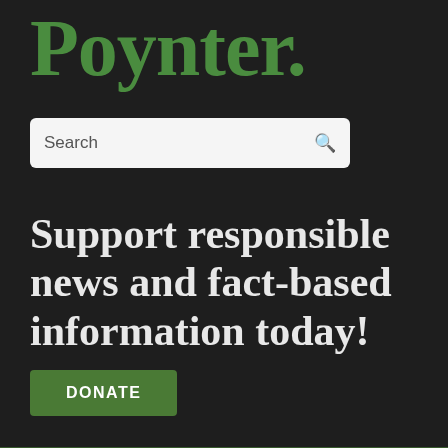Poynter.
[Figure (other): Search input box with placeholder text 'Search' and a magnifying glass icon]
Support responsible news and fact-based information today!
DONATE